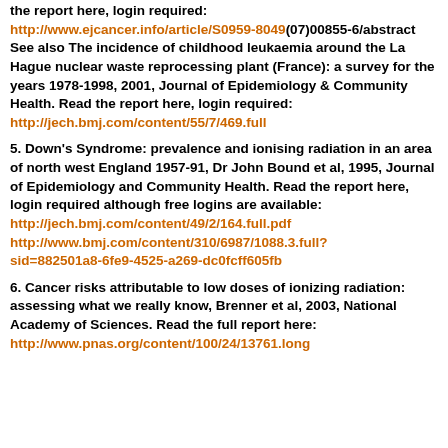the report here, login required: http://www.ejcancer.info/article/S0959-8049(07)00855-6/abstract See also The incidence of childhood leukaemia around the La Hague nuclear waste reprocessing plant (France): a survey for the years 1978-1998, 2001, Journal of Epidemiology & Community Health. Read the report here, login required: http://jech.bmj.com/content/55/7/469.full
5. Down's Syndrome: prevalence and ionising radiation in an area of north west England 1957-91, Dr John Bound et al, 1995, Journal of Epidemiology and Community Health. Read the report here, login required although free logins are available: http://jech.bmj.com/content/49/2/164.full.pdf http://www.bmj.com/content/310/6987/1088.3.full?sid=882501a8-6fe9-4525-a269-dc0fcff605fb
6. Cancer risks attributable to low doses of ionizing radiation: assessing what we really know, Brenner et al, 2003, National Academy of Sciences. Read the full report here: http://www.pnas.org/content/100/24/13761.long